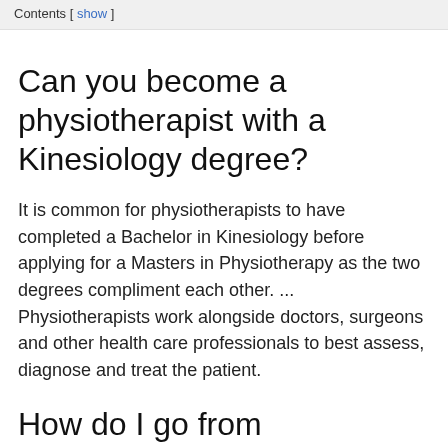Contents [ show ]
Can you become a physiotherapist with a Kinesiology degree?
It is common for physiotherapists to have completed a Bachelor in Kinesiology before applying for a Masters in Physiotherapy as the two degrees compliment each other. ... Physiotherapists work alongside doctors, surgeons and other health care professionals to best assess, diagnose and treat the patient.
How do I go from